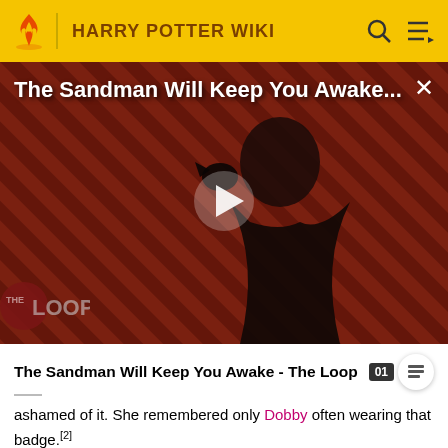HARRY POTTER WIKI
[Figure (screenshot): Video thumbnail for 'The Sandman Will Keep You Awake - The Loop' showing a dark-cloaked figure with a raven against a diagonal striped red/dark background, with THE LOOP logo at bottom left and a play button in the center.]
The Sandman Will Keep You Awake - The Loop
ashamed of it. She remembered only Dobby often wearing that badge.[2]